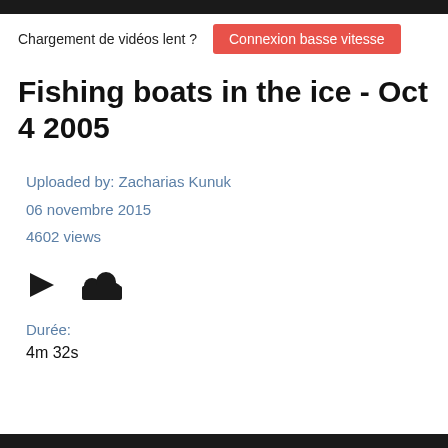Chargement de vidéos lent ? Connexion basse vitesse
Fishing boats in the ice - Oct 4 2005
Uploaded by: Zacharias Kunuk
06 novembre 2015
4602 views
[Figure (other): Share icon (play arrow) and SoundCloud icon]
Durée:
4m 32s